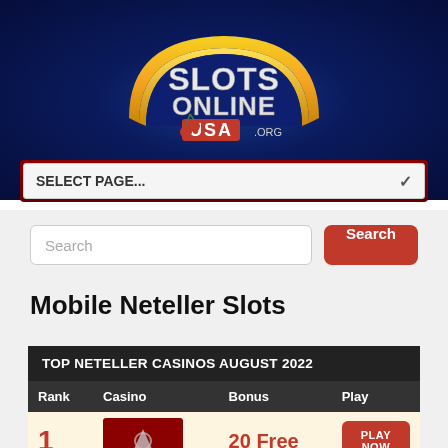[Figure (logo): SlotsOnlineUSA.org logo with gold arch banner, red and white text on dark blue background with cherry decorations]
SELECT PAGE...
Search
Mobile Neteller Slots
| Rank | Casino | Bonus | Play |
| --- | --- | --- | --- |
| 1 | [casino logo] | 20 Free | [PLAY NOW] |